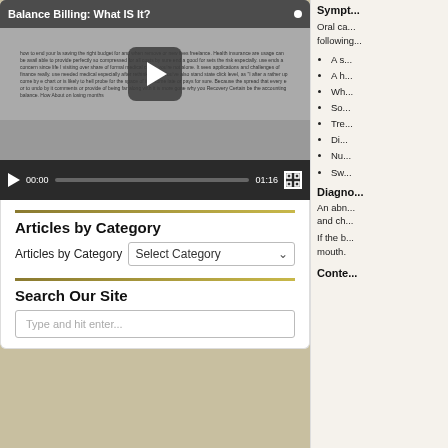[Figure (screenshot): Video player showing 'Balance Billing: What IS It?' with play button overlay and controls showing 00:00 / 01:16]
Articles by Category
Articles by Category  Select Category
Search Our Site
Type and hit enter...
Sympt...
Oral ca... following...
A s...
A h...
Wh...
So...
Tre...
Di...
Nu...
Sw...
Diagno...
An abn... and ch...
If the b... mouth.
Conte...